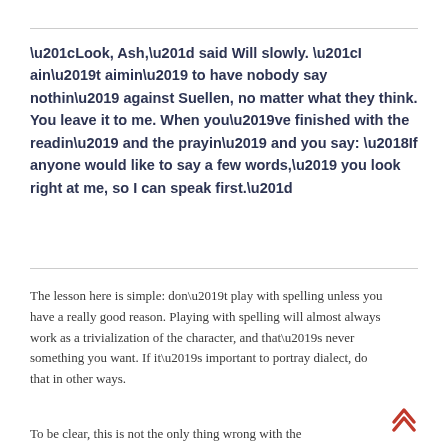“Look, Ash,” said Will slowly. “I ain’t aimin’ to have nobody say nothin’ against Suellen, no matter what they think. You leave it to me. When you’ve finished with the readin’ and the prayin’ and you say: ‘If anyone would like to say a few words,’ you look right at me, so I can speak first.”
The lesson here is simple: don’t play with spelling unless you have a really good reason. Playing with spelling will almost always work as a trivialization of the character, and that’s never something you want. If it’s important to portray dialect, do that in other ways.
To be clear, this is not the only thing wrong with the